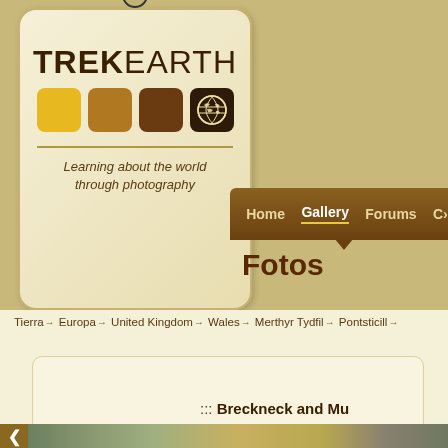[Figure (logo): TrekEarth logo tag with colored squares and world map icon, tagline: Learning about the world through photography]
Home  Gallery  Forums  C...
Fotos
Tierra → Europa → United Kingdom → Wales → Merthyr Tydfil → Pontsticill →
::: Breckneck and Mur...